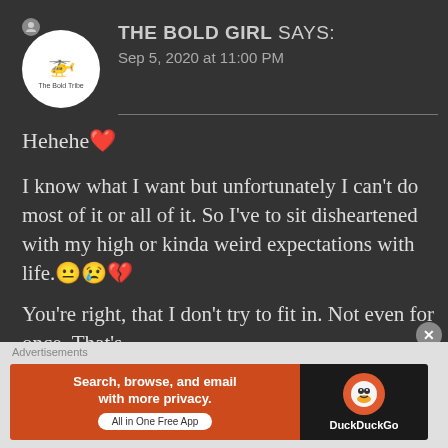THE BOLD GIRL says:
Sep 5, 2020 at 11:00 PM
Hehehe❤
I know what I want but unfortunately I can't do most of it or all of it. So I've to sit disheartened with my high or kinda weird expectations with life.😐😢💔
You're right, that I don't try to fit in. Not even for once. That's
Advertisements
[Figure (infographic): DuckDuckGo advertisement banner: orange background on left with text 'Search, browse, and email with more privacy. All in One Free App' and DuckDuckGo logo on dark right side]